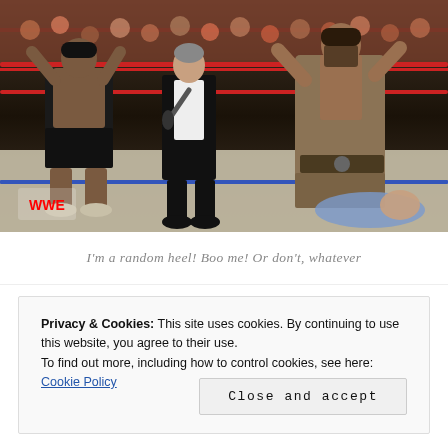[Figure (photo): Wrestling ring scene showing two large wrestlers (one on left in dark shorts, one on right in a brownish costume/cloak) and a man in a black tuxedo holding a microphone standing between them. The WWE logo is visible at bottom left. Red ring ropes are visible at top. A crowd of spectators is visible in the background.]
I'm a random heel!  Boo me! Or don't, whatever
Privacy & Cookies: This site uses cookies. By continuing to use this website, you agree to their use.
To find out more, including how to control cookies, see here: Cookie Policy
Close and accept